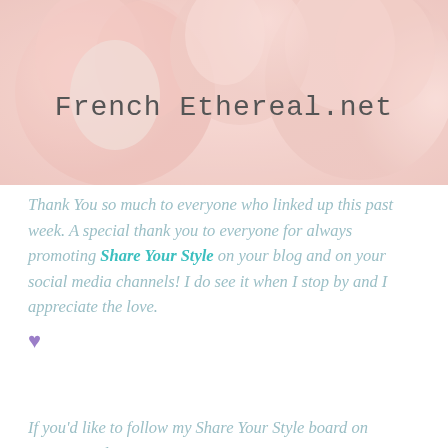[Figure (photo): Photo of soft pink ranunculus/peony flowers with text 'French Ethereal.net' overlaid in a serif/monospace font]
Thank You so much to everyone who linked up this past week. A special thank you to everyone for always promoting Share Your Style on your blog and on your social media channels! I do see it when I stop by and I appreciate the love. ♥
If you'd like to follow my Share Your Style board on Pinterest I'd